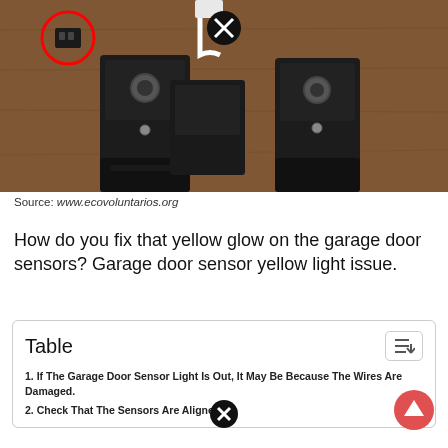[Figure (photo): Photo of garage door sensors (black mounting brackets with sensors) on a wooden surface, with a red circle annotation highlighting a connector and an X icon overlay at top]
Source: www.ecovoluntarios.org
How do you fix that yellow glow on the garage door sensors? Garage door sensor yellow light issue.
| Table |
| --- |
| 1. If The Garage Door Sensor Light Is Out, It May Be Because The Wires Are Damaged. |
| 2. Check That The Sensors Are Aligned. |